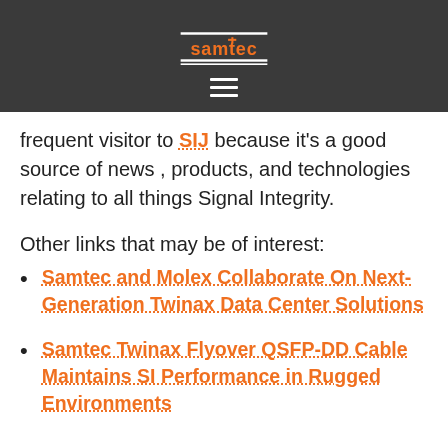[Figure (logo): Samtec logo in white/orange on dark background]
frequent visitor to SIJ because it's a good source of news , products, and technologies relating to all things Signal Integrity.
Other links that may be of interest:
Samtec and Molex Collaborate On Next-Generation Twinax Data Center Solutions
Samtec Twinax Flyover QSFP-DD Cable Maintains SI Performance in Rugged Environments